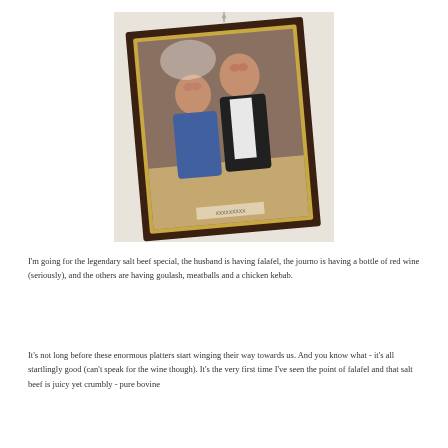[Figure (photo): A framed photograph hanging on a wall, slightly tilted. The frame is dark wood with a gold inner border. Inside is a photo of two people standing together — a shorter person in a blue shirt and a taller person in a dark jacket over a white shirt. A small label or card is visible at the bottom of the framed photo.]
I'm going for the legendary salt beef special, the husband is having falafel, the journo is having a bottle of red wine (seriously), and the others are having goulash, meatballs and a chicken kebab.
It's not long before these enormous platters start winging their way towards us. And you know what - it's all startlingly good (can't speak for the wine though). It's the very first time I've seen the point of falafel and that salt beef is juicy yet crumbly - pure bovine